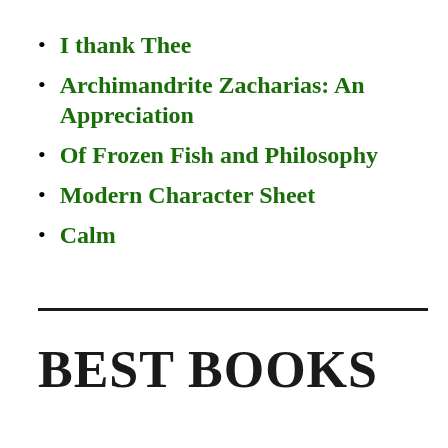I thank Thee
Archimandrite Zacharias: An Appreciation
Of Frozen Fish and Philosophy
Modern Character Sheet
Calm
BEST BOOKS